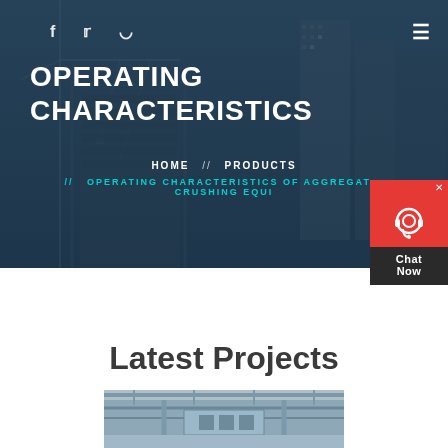[Figure (photo): Hero banner image showing construction site with cranes and city buildings in the background, with dark blue overlay. Social media icons (Facebook, Twitter, Dribbble) visible at top left, hamburger menu icon at top right.]
OPERATING CHARACTERISTICS
HOME // PRODUCTS // OPERATING CHARACTERISTICS OF AGGREGATE CRUSHING EQUI
[Figure (other): Chat Now widget with red background, headset icon, and dark 'Chat Now' text panel with X close button]
Latest Projects
[Figure (photo): Industrial aggregate crushing equipment photographed in a facility, showing machinery and structural components.]